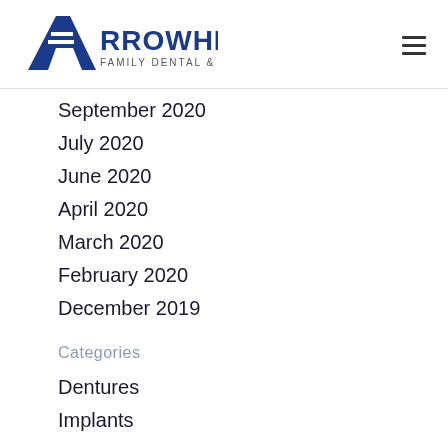[Figure (logo): Arrowhead Family Dental & Dentures logo with blue letter A and text]
September 2020
July 2020
June 2020
April 2020
March 2020
February 2020
December 2019
Categories
Dentures
Implants